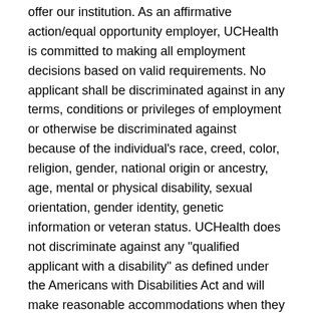offer our institution. As an affirmative action/equal opportunity employer, UCHealth is committed to making all employment decisions based on valid requirements. No applicant shall be discriminated against in any terms, conditions or privileges of employment or otherwise be discriminated against because of the individual's race, creed, color, religion, gender, national origin or ancestry, age, mental or physical disability, sexual orientation, gender identity, genetic information or veteran status. UCHealth does not discriminate against any "qualified applicant with a disability" as defined under the Americans with Disabilities Act and will make reasonable accommodations when they do not impose an undue hardship on the organization. An applicant with a disability" as defined under the Americans with Disabilities Act and will make reasonable accommodations, when they do not impose an undue hardship on the organization.
How to apply